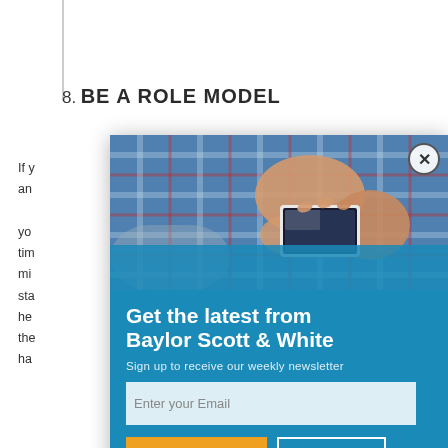8. BE A ROLE MODEL
If y... an... yo... tim... mi... sta... he... the... ha...
[Figure (photo): Person in plaid shirt using a smartphone, hands close-up view]
Get the latest from Baylor Scott & White
Sign up to receive our weekly newsletter
Enter your Email
SUBSCRIBE NOW
NO THANKS